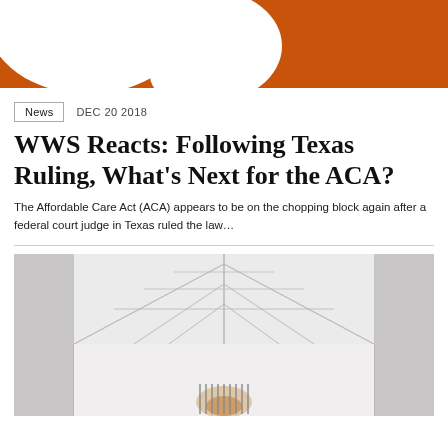[Figure (illustration): Orange background with white speech/thought bubbles overlapping, cropped at top]
News   DEC 20 2018
WWS Reacts: Following Texas Ruling, What's Next for the ACA?
The Affordable Care Act (ACA) appears to be on the chopping block again after a federal court judge in Texas ruled the law…
[Figure (photo): Interior architectural photo showing a corridor or atrium with a geometric skylight ceiling with metal struts forming triangular/diamond patterns, white walls with vertical panels, and warm light at the far end.]